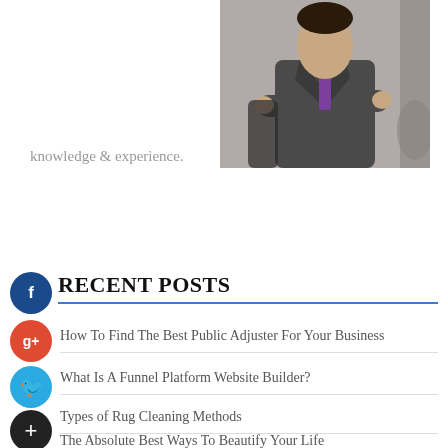[Figure (photo): Photo of a man in a grey suit with purple tie, arms crossed, leaning against a decorative surface]
knowledge & experience.
RECENT POSTS
How To Find The Best Public Adjuster For Your Business
What Is A Funnel Platform Website Builder?
Types of Rug Cleaning Methods
The Absolute Best Ways To Beautify Your Life